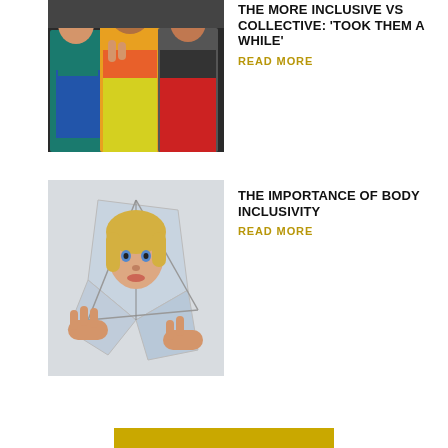[Figure (photo): Three plus-size women in colorful activewear posing together, one making a peace sign]
THE MORE INCLUSIVE VS COLLECTIVE: 'TOOK THEM A WHILE'
READ MORE
[Figure (photo): A young blonde woman looking at herself in a broken/cracked mirror, held by hands]
THE IMPORTANCE OF BODY INCLUSIVITY
READ MORE
[Figure (other): Partial golden/yellow bar visible at very bottom of page]